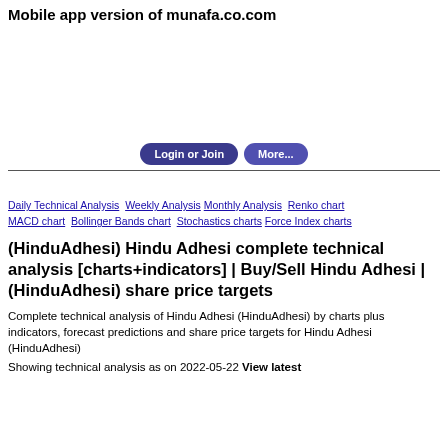Mobile app version of munafa.co.com
[Figure (other): Advertisement banner area (blank white space)]
Login or Join  More...
Daily Technical Analysis Weekly Analysis Monthly Analysis Renko chart MACD chart Bollinger Bands chart Stochastics charts Force Index charts
(HinduAdhesi) Hindu Adhesi complete technical analysis [charts+indicators] | Buy/Sell Hindu Adhesi | (HinduAdhesi) share price targets
Complete technical analysis of Hindu Adhesi (HinduAdhesi) by charts plus indicators, forecast predictions and share price targets for Hindu Adhesi (HinduAdhesi)
Showing technical analysis as on 2022-05-22 View latest